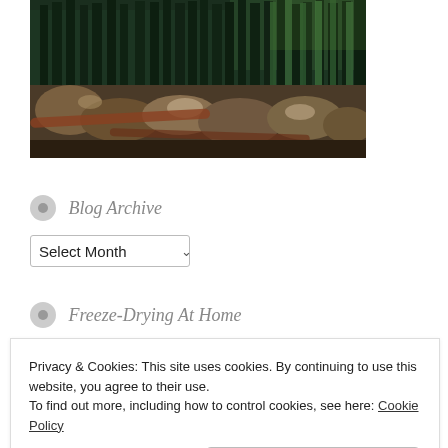[Figure (photo): Photograph of a rocky mountain trail or landslide area with large boulders and tall evergreen pine trees in the background, bright sunlight.]
Blog Archive
Select Month
Freeze-Drying At Home
Privacy & Cookies: This site uses cookies. By continuing to use this website, you agree to their use.
To find out more, including how to control cookies, see here: Cookie Policy
Close and accept
FOOD AT HOME